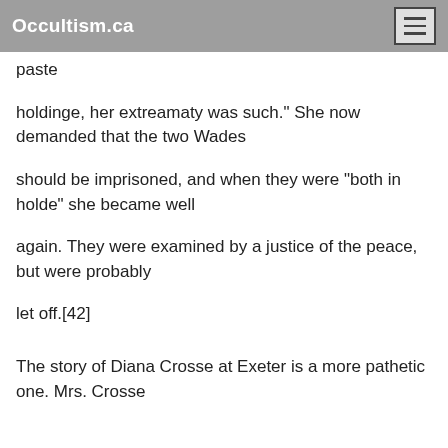Occultism.ca
paste
holdinge, her extreamaty was such." She now demanded that the two Wades
should be imprisoned, and when they were "both in holde" she became well
again. They were examined by a justice of the peace, but were probably
let off.[42]
The story of Diana Crosse at Exeter is a more pathetic one. Mrs. Crosse